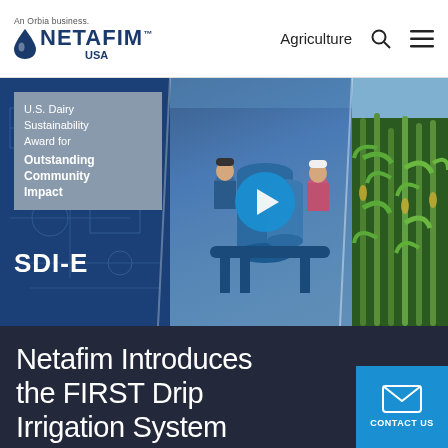An Orbia business. NETAFIM™ USA | Agriculture
[Figure (photo): Hero banner showing award text 'U.S. Dairy Sustainability Award for Outstanding Community Impact SDI-E', two workers at blue irrigation equipment with a video play button overlay, and green corn field on the right]
Netafim Introduces the FIRST Drip Irrigation System Utilizing Dairy Effluent